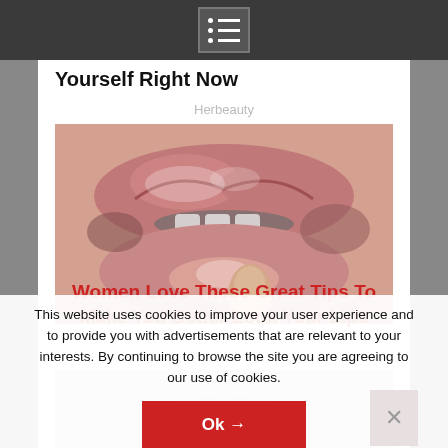Yourself Right Now
Herbeauty
[Figure (photo): Close-up photo of glossy pink lips with a finger touching the lower lip, covered in lip gloss]
Women Love These Great Tips To Make You Better Look Your Lips
This website uses cookies to improve your user experience and to provide you with advertisements that are relevant to your interests. By continuing to browse the site you are agreeing to our use of cookies.
[Figure (photo): Partially visible second article image below cookie banner]